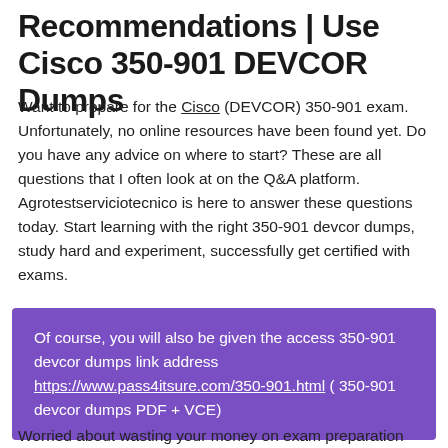Recommendations | Use Cisco 350-901 DEVCOR Dumps
Want to prepare for the Cisco (DEVCOR) 350-901 exam. Unfortunately, no online resources have been found yet. Do you have any advice on where to start? These are all questions that I often look at on the Q&A platform. Agrotestserviciotecnico is here to answer these questions today. Start learning with the right 350-901 devcor dumps, study hard and experiment, successfully get certified with exams.
Of course, you will also be given the access 350-901 devcor dumps link address https://www.pass4itsure.com/350-901.html ( 350-901 devcor dumps PDF + VCE)
Worried about wasting your money on exam preparation